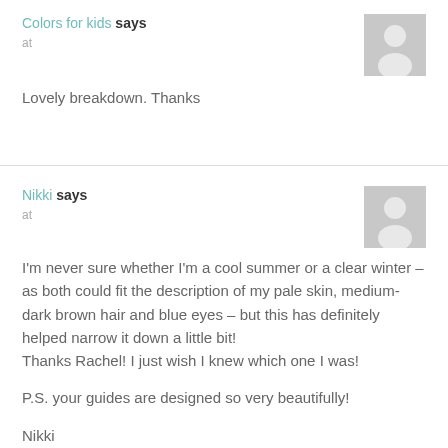Colors for kids says
at
Lovely breakdown. Thanks
Nikki says
at
I'm never sure whether I'm a cool summer or a clear winter – as both could fit the description of my pale skin, medium-dark brown hair and blue eyes – but this has definitely helped narrow it down a little bit!
Thanks Rachel! I just wish I knew which one I was!

P.S. your guides are designed so very beautifully!

Nikki